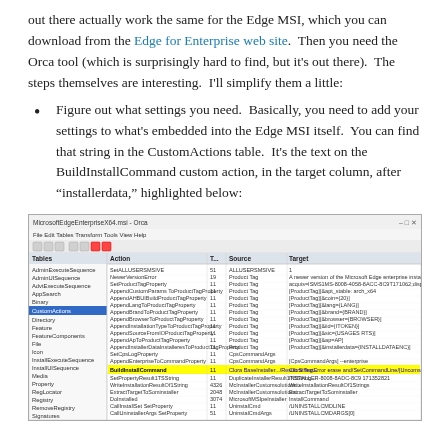out there actually work the same for the Edge MSI, which you can download from the Edge for Enterprise web site. Then you need the Orca tool (which is surprisingly hard to find, but it's out there). The steps themselves are interesting. I'll simplify them a little:
Figure out what settings you need. Basically, you need to add your settings to what's embedded into the Edge MSI itself. You can find that string in the CustomActions table. It's the text on the BuildInstallCommand custom action, in the target column, after “installerdata,” highlighted below:
[Figure (screenshot): Screenshot of Microsoft Edge MSI opened in Orca tool, showing a table of custom actions with BuildInstallCommand row highlighted in yellow]